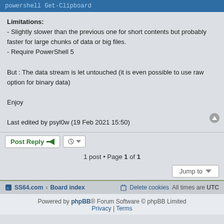powershell Get-Clipboard
Limitations:
- Slightly slower than the previous one for short contents but probably faster for large chunks of data or big files.
- Require PowerShell 5

But : The data stream is let untouched (it is even possible to use raw option for binary data)

Enjoy

Last edited by psyl0w (19 Feb 2021 15:50)
Post Reply
1 post • Page 1 of 1
Jump to
SS64.com · Board index  Delete cookies  All times are UTC
Powered by phpBB® Forum Software © phpBB Limited  Privacy | Terms